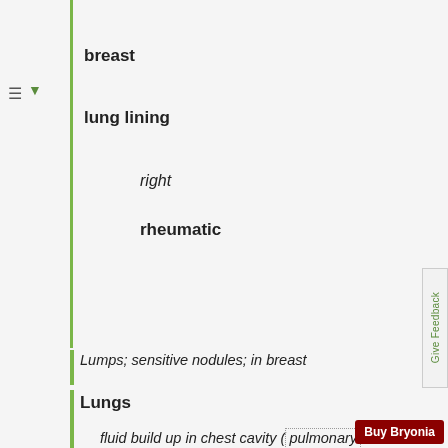breast
lung lining
right
rheumatic
Lumps; sensitive nodules; in breast
Lungs
fluid build up in chest cavity (pulmonary oedema )
haemorrhage (see expectoration)
coagulated
coagulated; brown
women; after suppression of period
as if full of smoke
tuberculosis; acute